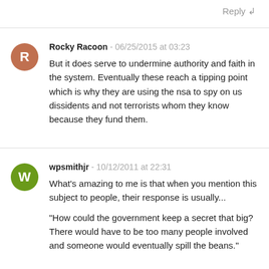Reply ↲
Rocky Racoon - 06/25/2015 at 03:23
But it does serve to undermine authority and faith in the system. Eventually these reach a tipping point which is why they are using the nsa to spy on us dissidents and not terrorists whom they know because they fund them.
wpsmithjr - 10/12/2011 at 22:31
What's amazing to me is that when you mention this subject to people, their response is usually...

"How could the government keep a secret that big? There would have to be too many people involved and someone would eventually spill the beans."